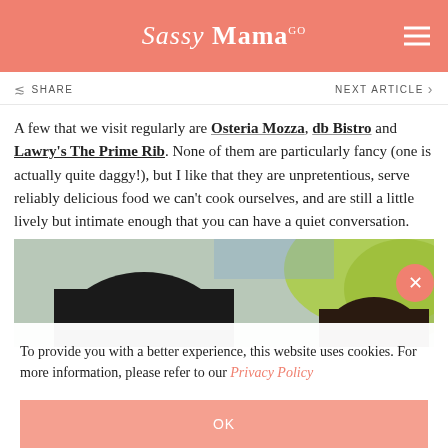Sassy Mama
SHARE   NEXT ARTICLE >
A few that we visit regularly are Osteria Mozza, db Bistro and Lawry's The Prime Rib. None of them are particularly fancy (one is actually quite daggy!), but I like that they are unpretentious, serve reliably delicious food we can't cook ourselves, and are still a little lively but intimate enough that you can have a quiet conversation.
[Figure (photo): Photo showing two people (viewed from behind) with dark hair, with green foliage in the background.]
To provide you with a better experience, this website uses cookies. For more information, please refer to our Privacy Policy
OK